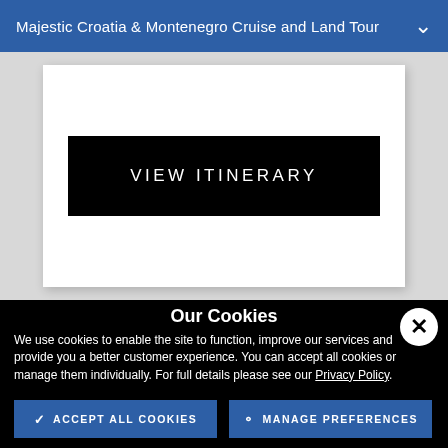Majestic Croatia & Montenegro Cruise and Land Tour
[Figure (screenshot): White card containing a black 'VIEW ITINERARY' button on a light grey background]
Our Cookies
We use cookies to enable the site to function, improve our services and provide you a better customer experience. You can accept all cookies or manage them individually. For full details please see our Privacy Policy.
ACCEPT ALL COOKIES
MANAGE PREFERENCES